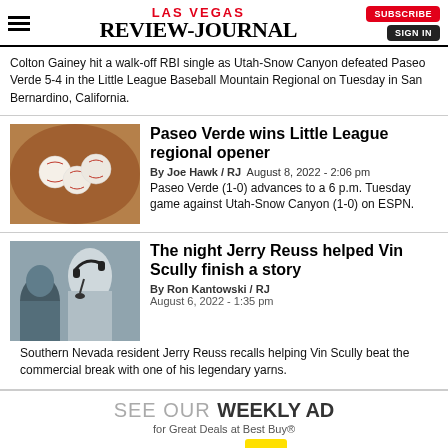LAS VEGAS REVIEW-JOURNAL
Colton Gainey hit a walk-off RBI single as Utah-Snow Canyon defeated Paseo Verde 5-4 in the Little League Baseball Mountain Regional on Tuesday in San Bernardino, California.
[Figure (photo): Three baseballs resting on dirt/clay surface]
Paseo Verde wins Little League regional opener
By Joe Hawk / RJ  August 8, 2022 - 2:06 pm
Paseo Verde (1-0) advances to a 6 p.m. Tuesday game against Utah-Snow Canyon (1-0) on ESPN.
[Figure (photo): Older man with headphones and microphone, broadcasting]
The night Jerry Reuss helped Vin Scully finish a story
By Ron Kantowski / RJ
August 6, 2022 - 1:35 pm
Southern Nevada resident Jerry Reuss recalls helping Vin Scully beat the commercial break with one of his legendary yarns.
SEE OUR WEEKLY AD for Great Deals at Best Buy®